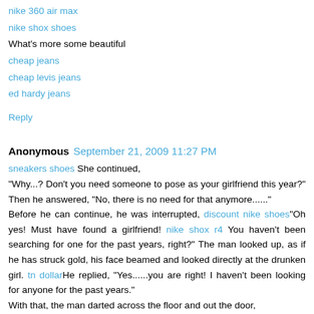nike 360 air max
nike shox shoes
What's more some beautiful
cheap jeans
cheap levis jeans
ed hardy jeans
Reply
Anonymous  September 21, 2009 11:27 PM
sneakers shoes She continued, "Why...? Don't you need someone to pose as your girlfriend this year?" Then he answered, "No, there is no need for that anymore......"
Before he can continue, he was interrupted, discount nike shoes"Oh yes! Must have found a girlfriend! nike shox r4 You haven't been searching for one for the past years, right?" The man looked up, as if he has struck gold, his face beamed and looked directly at the drunken girl. tn dollarHe replied, "Yes......you are right! I haven't been looking for anyone for the past years."
With that, the man darted across the floor and out the door,